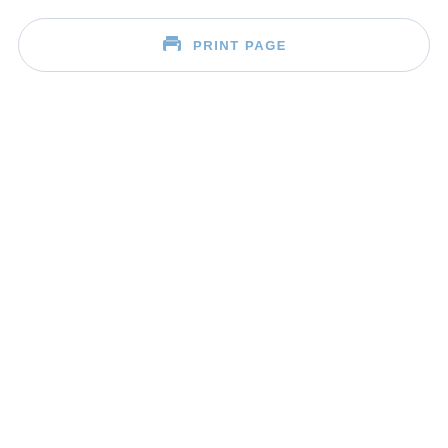[Figure (other): A rounded-rectangle button with a blue printer icon and the text PRINT PAGE in blue, centered horizontally near the top of the page.]